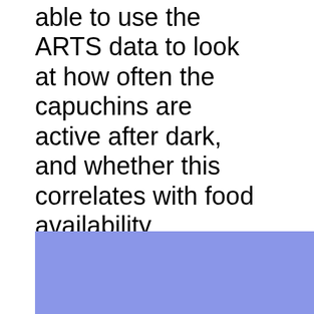able to use the ARTS data to look at how often the capuchins are active after dark, and whether this correlates with food availability.
[Figure (other): A solid blue/periwinkle colored rectangle block at the bottom of the page.]